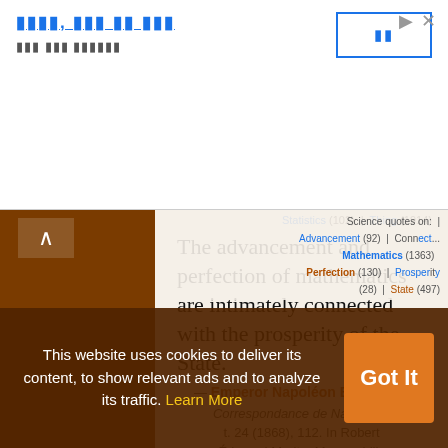[Figure (screenshot): Ad banner with Korean text title in blue underlined, subtitle in gray Korean text, and a blue outlined button with Korean characters on the right. Play and close icons top right.]
Statistics (102) | Thing (1914)
The advancement and perfection of mathematics are intimately connected with the prosperity of the State.
— Emperor Napoléon Bonaparte
Correspondance de Napoléon, t. 24 (1868), 112. In Robert Édouard Moritz, Memorabilia Mathematica; Or, The Philomath's Quotation-book (1914), 42.
Science quotes on: | Advancement (92) | Connection (135) | Mathematics (1363) | Perfection (130) | Prosperity (28) | State (497)
This website uses cookies to deliver its content, to show relevant ads and to analyze its traffic. Learn More